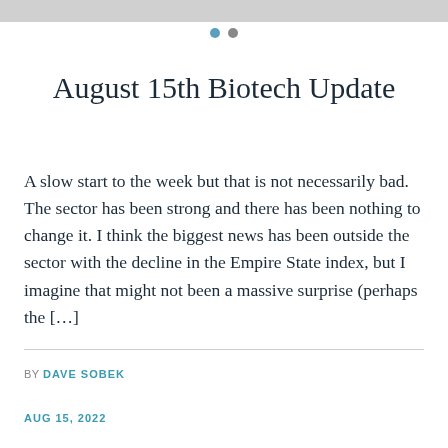August 15th Biotech Update
A slow start to the week but that is not necessarily bad.  The sector has been strong and there has been nothing to change it.  I think the biggest news has been outside the sector with the decline in the Empire State index, but I imagine that might not been a massive surprise (perhaps the […]
BY DAVE SOBEK
AUG 15, 2022